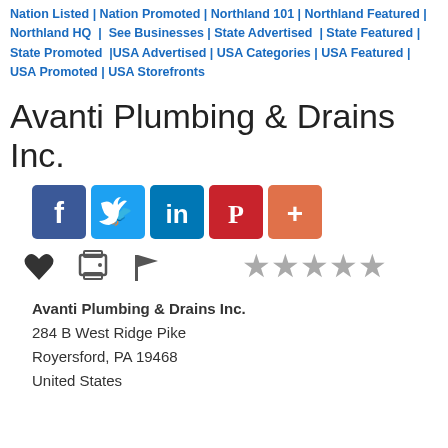Nation Listed | Nation Promoted | Northland 101 | Northland Featured | Northland HQ | See Businesses | State Advertised | State Featured | State Promoted | USA Advertised | USA Categories | USA Featured | USA Promoted | USA Storefronts
Avanti Plumbing & Drains Inc.
[Figure (infographic): Social share icons: Facebook (blue), Twitter (light blue), LinkedIn (blue), Pinterest (red), More/Plus (orange-red)]
[Figure (infographic): Action icons: heart (favorite), printer, flag/report, and 5 grey star rating]
Avanti Plumbing & Drains Inc.
284 B West Ridge Pike
Royersford, PA 19468
United States